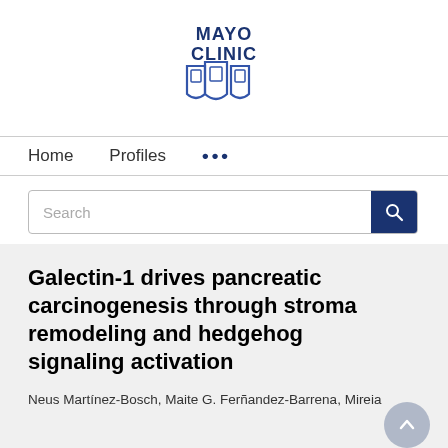[Figure (logo): Mayo Clinic logo with text 'MAYO CLINIC' above a blue shield/crest emblem]
Home   Profiles   ...
Search
Galectin-1 drives pancreatic carcinogenesis through stroma remodeling and hedgehog signaling activation
Neus Martínez-Bosch, Maite G. Ferñandez-Barrena, Mireia